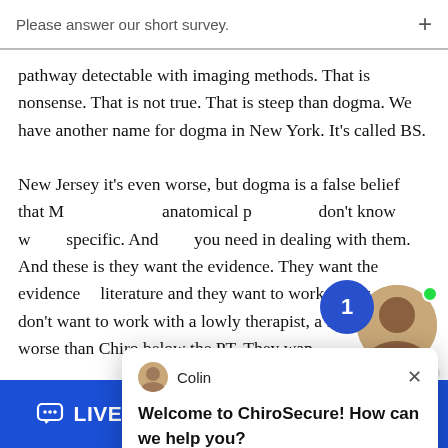Please answer our short survey.
pathway detectable with imaging methods. That is nonsense. That is not true. That is steep than dogma. We have another name for dogma in New York. It's called BS.
New Jersey it's even worse, but dogma is a false belief that M... anatomical p... don't know w... specific. And... you need in dealing with them. And these is they want the evidence. They want the evidence... literature and they want to work with peers. don't want to work with a lowly therapist, a Ph, even worse than Chiro below the PT. They want...
[Figure (screenshot): Chat popup from Colin at ChiroSecure saying 'Welcome to ChiroSecure! How can we help you?' with a close button]
[Figure (photo): Online agent photo with green dot and 'Online Agent' label, and notification bubble with number 1]
LIVE CHAT
TEXT US